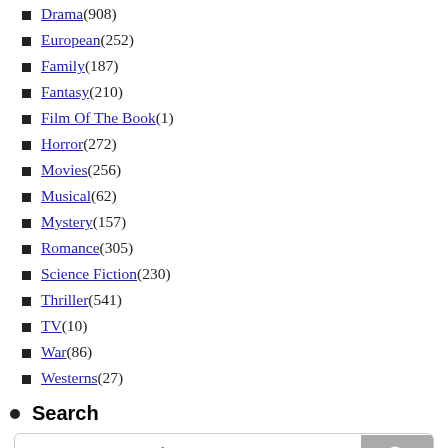Drama (908)
European (252)
Family (187)
Fantasy (210)
Film Of The Book (1)
Horror (272)
Movies (256)
Musical (62)
Mystery (157)
Romance (305)
Science Fiction (230)
Thriller (541)
TV (10)
War (86)
Westerns (27)
Search
[Figure (screenshot): Enhanced by Google search box with magnifying glass button]
Recent Posts
Divergent